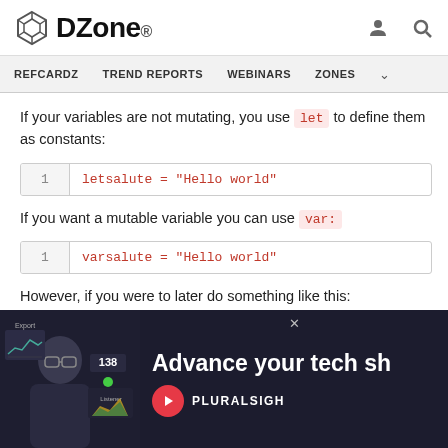DZone. [user icon] [search icon]
REFCARDZ  TREND REPORTS  WEBINARS  ZONES
If your variables are not mutating, you use let to define them as constants:
If you want a mutable variable you can use var:
However, if you were to later do something like this:
[Figure (photo): Pluralsight advertisement overlay: person with glasses in front of a computer monitor showing a dashboard, with text 'Advance your tech s[kills]' and Pluralsight logo]